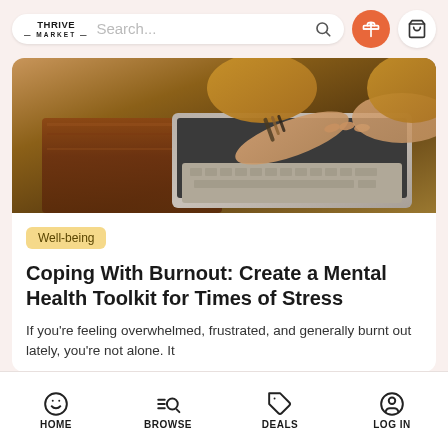Thrive Market — Search bar with gift and cart icons
[Figure (photo): Person's hands typing on a laptop on a wooden desk, wearing a yellow sweater and bracelets]
Well-being
Coping With Burnout: Create a Mental Health Toolkit for Times of Stress
If you're feeling overwhelmed, frustrated, and generally burnt out lately, you're not alone. It
HOME  BROWSE  DEALS  LOG IN